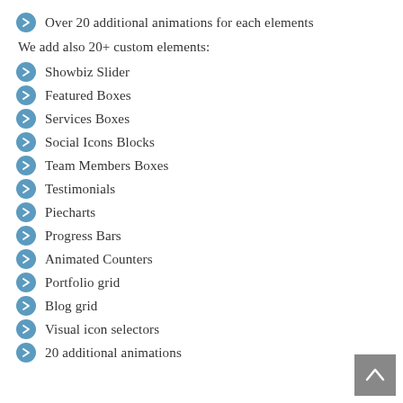Over 20 additional animations for each elements
We add also 20+ custom elements:
Showbiz Slider
Featured Boxes
Services Boxes
Social Icons Blocks
Team Members Boxes
Testimonials
Piecharts
Progress Bars
Animated Counters
Portfolio grid
Blog grid
Visual icon selectors
20 additional animations